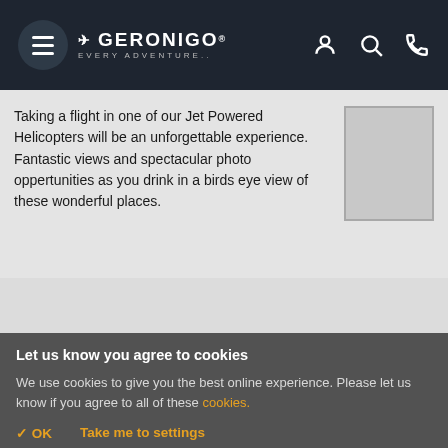GERONIGO EVERY ADVENTURE. (navigation header with hamburger menu, logo, account, search, phone icons)
Taking a flight in one of our Jet Powered Helicopters will be an unforgettable experience. Fantastic views and spectacular photo oppertunities as you drink in a birds eye view of these wonderful places.
[Figure (photo): Placeholder image box (light gray rectangle with border)]
Let us know you agree to cookies
We use cookies to give you the best online experience. Please let us know if you agree to all of these cookies.
✓ OK   Take me to settings